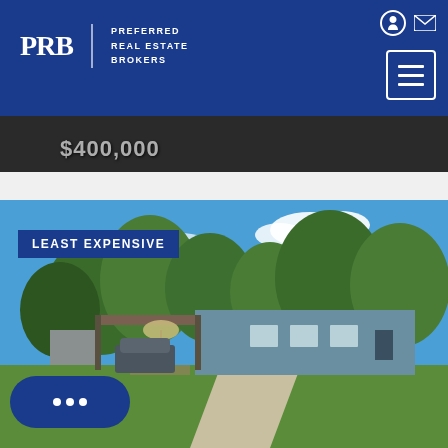[Figure (logo): PRB Preferred Real Estate Brokers logo on dark blue header with hamburger menu and icons]
$400,000
[Figure (photo): Exterior photo of a single-story residential home with carport, blue siding, green lawn, and trees under blue sky. Badge reads LEAST EXPENSIVE.]